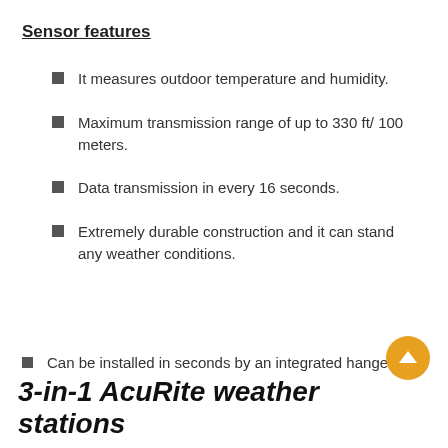Sensor features
It measures outdoor temperature and humidity.
Maximum transmission range of up to 330 ft/ 100 meters.
Data transmission in every 16 seconds.
Extremely durable construction and it can stand any weather conditions.
Can be installed in seconds by an integrated hanger.
3-in-1 AcuRite weather stations